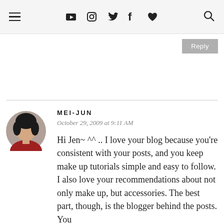☰ ▶ 📷 🐦 f ♥ 🔍
[Figure (other): Reply button (gray)]
[Figure (photo): Circular avatar photo of Mei-Jun, a woman with dark hair]
MEI-JUN
October 29, 2009 at 9:11 AM
Hi Jen~ ^^ .. I love your blog because you're consistent with your posts, and you keep make up tutorials simple and easy to follow. I also love your recommendations about not only make up, but accessories. The best part, though, is the blogger behind the posts. You